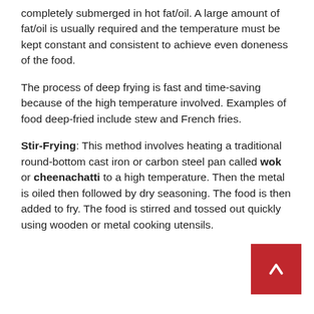completely submerged in hot fat/oil. A large amount of fat/oil is usually required and the temperature must be kept constant and consistent to achieve even doneness of the food.
The process of deep frying is fast and time-saving because of the high temperature involved. Examples of food deep-fried include stew and French fries.
Stir-Frying: This method involves heating a traditional round-bottom cast iron or carbon steel pan called wok or cheenachatti to a high temperature. Then the metal is oiled then followed by dry seasoning. The food is then added to fry. The food is stirred and tossed out quickly using wooden or metal cooking utensils.